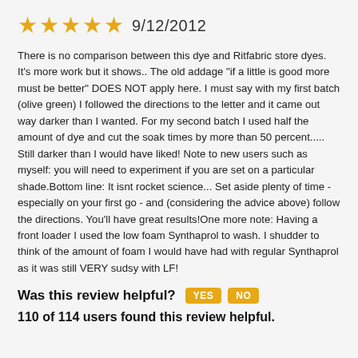★★★★★ 9/12/2012
There is no comparison between this dye and Ritfabric store dyes. It's more work but it shows.. The old addage "if a little is good more must be better" DOES NOT apply here. I must say with my first batch (olive green) I followed the directions to the letter and it came out way darker than I wanted. For my second batch I used half the amount of dye and cut the soak times by more than 50 percent..... Still darker than I would have liked! Note to new users such as myself: you will need to experiment if you are set on a particular shade.Bottom line: It isnt rocket science... Set aside plenty of time - especially on your first go - and (considering the advice above) follow the directions. You'll have great results!One more note: Having a front loader I used the low foam Synthaprol to wash. I shudder to think of the amount of foam I would have had with regular Synthaprol as it was still VERY sudsy with LF!
Was this review helpful? YES NO
110 of 114 users found this review helpful.